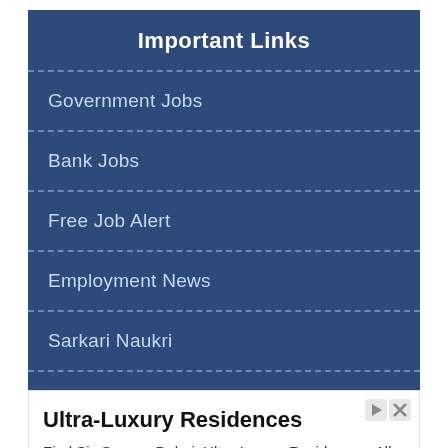Important Links
Government Jobs
Bank Jobs
Free Job Alert
Employment News
Sarkari Naukri
Rojgar Samachar
Sarkari Result
Ultra-Luxury Residences
Find Six Senses Dubai. Ultra-Luxury Residences. All You Need To Know
Questtips
Open